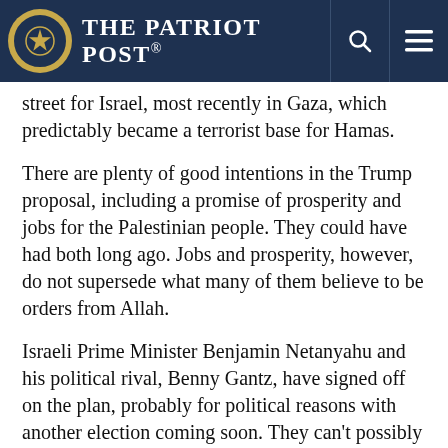The Patriot Post
street for Israel, most recently in Gaza, which predictably became a terrorist base for Hamas.
There are plenty of good intentions in the Trump proposal, including a promise of prosperity and jobs for the Palestinian people. They could have had both long ago. Jobs and prosperity, however, do not supersede what many of them believe to be orders from Allah.
Israeli Prime Minister Benjamin Netanyahu and his political rival, Benny Gantz, have signed off on the plan, probably for political reasons with another election coming soon. They can’t possibly believe the Palestinian leadership will agree to the proposal.
Because it’s about land. Because…